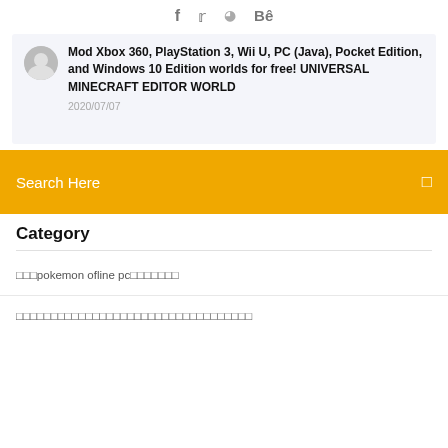f  🏀  Bē
Mod Xbox 360, PlayStation 3, Wii U, PC (Java), Pocket Edition, and Windows 10 Edition worlds for free! UNIVERSAL MINECRAFT EDITOR WORLD
2020/07/07
Search Here
Category
🔲🔲🔲pokemon ofline pc🔲🔲🔲🔲🔲🔲🔲
🔲🔲🔲🔲🔲🔲🔲🔲🔲🔲🔲🔲🔲🔲🔲🔲🔲🔲🔲🔲🔲🔲🔲🔲🔲🔲🔲🔲🔲🔲🔲🔲🔲🔲